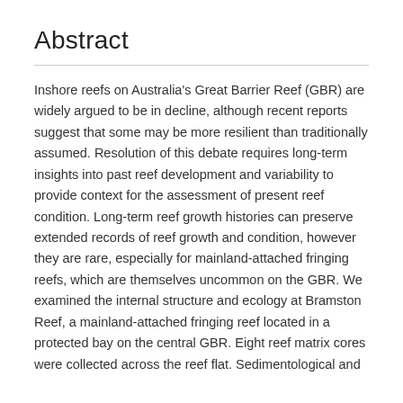Abstract
Inshore reefs on Australia's Great Barrier Reef (GBR) are widely argued to be in decline, although recent reports suggest that some may be more resilient than traditionally assumed. Resolution of this debate requires long-term insights into past reef development and variability to provide context for the assessment of present reef condition. Long-term reef growth histories can preserve extended records of reef growth and condition, however they are rare, especially for mainland-attached fringing reefs, which are themselves uncommon on the GBR. We examined the internal structure and ecology at Bramston Reef, a mainland-attached fringing reef located in a protected bay on the central GBR. Eight reef matrix cores were collected across the reef flat. Sedimentological and